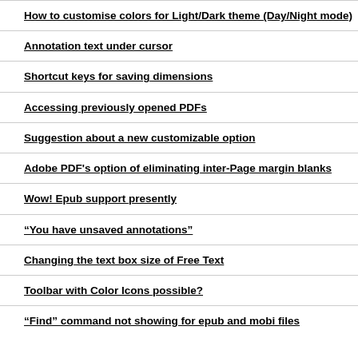How to customise colors for Light/Dark theme (Day/Night mode)
Annotation text under cursor
Shortcut keys for saving dimensions
Accessing previously opened PDFs
Suggestion about a new customizable option
Adobe PDF's option of eliminating inter-Page margin blanks
Wow! Epub support presently
“You have unsaved annotations”
Changing the text box size of Free Text
Toolbar with Color Icons possible?
“Find” command not showing for epub and mobi files